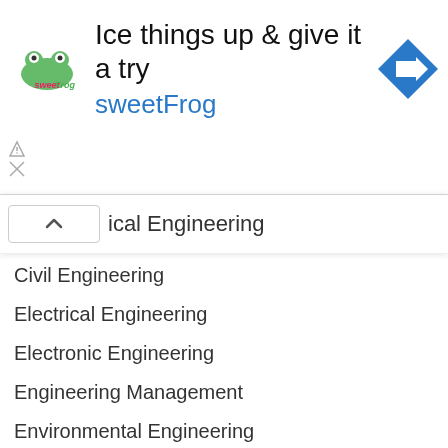[Figure (infographic): sweetFrog advertisement banner with logo, headline text 'Ice things up & give it a try', brand name 'sweetFrog', and a blue navigation/directions icon]
ical Engineering
Civil Engineering
Electrical Engineering
Electronic Engineering
Engineering Management
Environmental Engineering
Gas Engineering
Mechanical Engineering